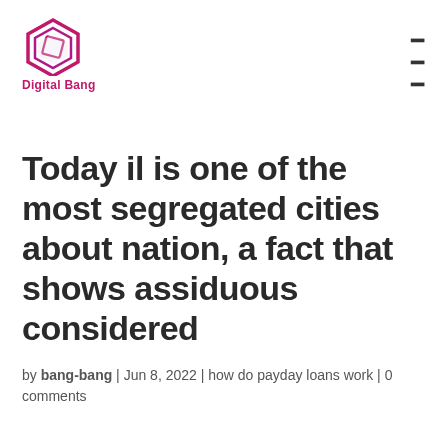Digital Bang
Today il is one of the most segregated cities about nation, a fact that shows assiduous considered
by bang-bang | Jun 8, 2022 | how do payday loans work | 0 comments